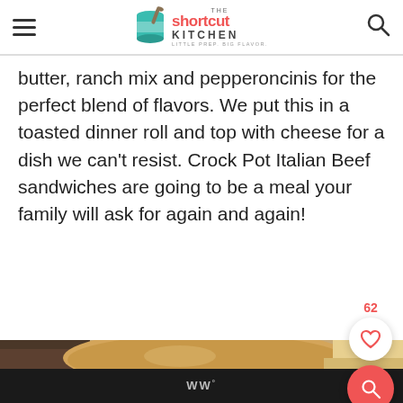The Shortcut Kitchen — LITTLE PREP. BIG FLAVOR.
butter, ranch mix and pepperoncinis for the perfect blend of flavors. We put this in a toasted dinner roll and top with cheese for a dish we can't resist. Crock Pot Italian Beef sandwiches are going to be a meal your family will ask for again and again!
[Figure (photo): Close-up photo of a Crock Pot Italian Beef sandwich on a dinner roll with melted cheese and braised beef visible]
WW°